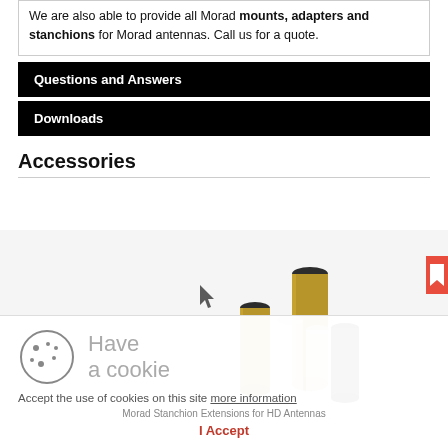We are also able to provide all Morad mounts, adapters and stanchions for Morad antennas. Call us for a quote.
Questions and Answers
Downloads
Accessories
[Figure (photo): Morad Stanchion Extensions for HD Antennas - brass and white cylindrical tubes of varying heights]
Morad Stanchion Extensions for HD Antennas
Have a cookie
Accept the use of cookies on this site more information
I Accept